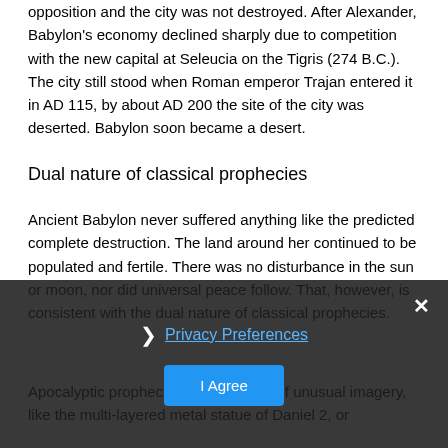opposition and the city was not destroyed. After Alexander, Babylon's economy declined sharply due to competition with the new capital at Seleucia on the Tigris (274 B.C.). The city still stood when Roman emperor Trajan entered it in AD 115, by about AD 200 the site of the city was deserted. Babylon soon became a desert.
Dual nature of classical prophecies
Ancient Babylon never suffered anything like the predicted complete destruction. The land around her continued to be populated and fertile. There was no disturbance in the sun or moon, nor did universal peace follow. That, however, is consistent with the dual nature of classical prophecies.
Apocalyptic prophecies contains of unusual imagery, like the multi-layered metal statue of Daniel 2, or